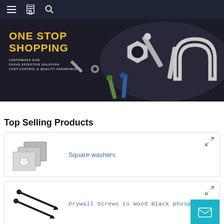Navigation bar with menu, catalog, and search icons
[Figure (photo): Banner image showing various hardware fasteners (nuts, bolts, screws, washers, U-bolts) on dark background with text: ONE STOP SHOPPING, CUSTOMIZED SIZE, FOCUS EFFECTIVE SOLUTION, COST CONTROL & QUALITY ASSURANCE]
Top Selling Products
[Figure (photo): Product listing card showing square washers (grey metallic square plates with holes) with title: Square washers]
[Figure (photo): Product listing card showing drywall screws (black screws on white background) with title: Drywall Screws to Wood Black phosphating]